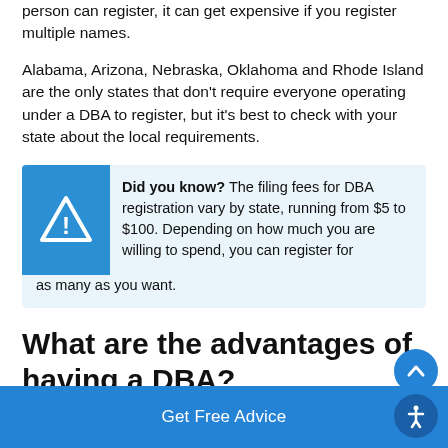person can register, it can get expensive if you register multiple names.
Alabama, Arizona, Nebraska, Oklahoma and Rhode Island are the only states that don't require everyone operating under a DBA to register, but it's best to check with your state about the local requirements.
Did you know? The filing fees for DBA registration vary by state, running from $5 to $100. Depending on how much you are willing to spend, you can register for as many as you want.
What are the advantages of having a DBA?
Get Free Advice